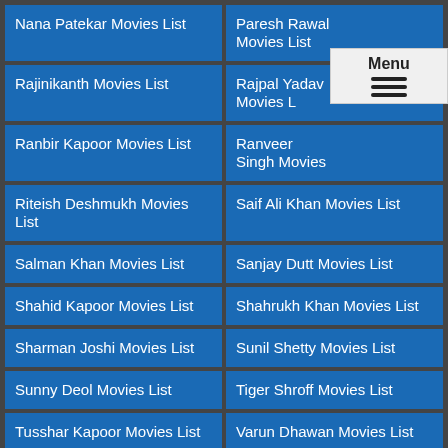Nana Patekar Movies List
Paresh Rawal Movies List
Rajinikanth Movies List
Rajpal Yadav Movies List
Ranbir Kapoor Movies List
Ranveer Singh Movies List
Riteish Deshmukh Movies List
Saif Ali Khan Movies List
Salman Khan Movies List
Sanjay Dutt Movies List
Shahid Kapoor Movies List
Shahrukh Khan Movies List
Sharman Joshi Movies List
Sunil Shetty Movies List
Sunny Deol Movies List
Tiger Shroff Movies List
Tusshar Kapoor Movies List
Varun Dhawan Movies List
Vidyut Jammwal Movies
Vivek Oberoi Movies List
SEARCH MOVIES BY ACTRESS
Alia Bhatt Movies List
Aishwarya Rai Movies List
Ameesha Patel Movies List
Amrita Rao Movies List
Anushka Sharma Movies List
Asin Thottumkal Movies List
Ayesha Takia Movies List
Bipasha Basu Movies List